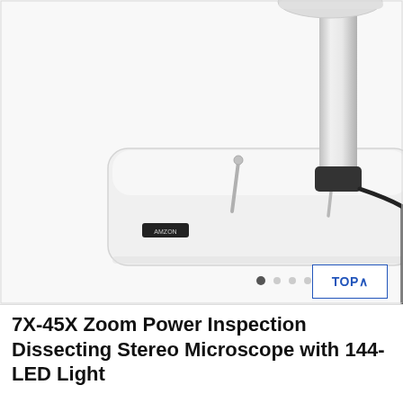[Figure (photo): Product photo of a 7X-45X Zoom Power Inspection Dissecting Stereo Microscope with 144-LED Light. The image shows the base and stand of the microscope — a white rectangular base with rounded corners, a chrome vertical pole, two specimen pins, and a black power cord visible on the right. The top of the image is cropped showing part of the microscope head. There are navigation dots at the bottom and a blue-outlined 'TOP^' button at the bottom right.]
7X-45X Zoom Power Inspection Dissecting Stereo Microscope with 144-LED Light